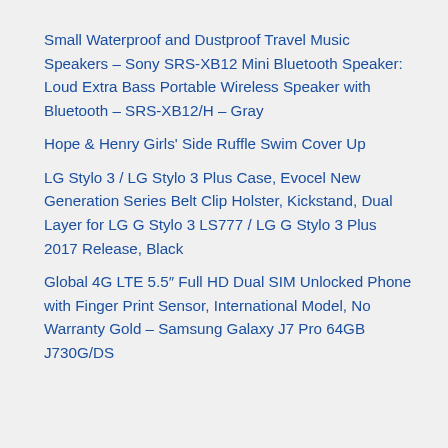Small Waterproof and Dustproof Travel Music Speakers – Sony SRS-XB12 Mini Bluetooth Speaker: Loud Extra Bass Portable Wireless Speaker with Bluetooth – SRS-XB12/H – Gray
Hope & Henry Girls' Side Ruffle Swim Cover Up
LG Stylo 3 / LG Stylo 3 Plus Case, Evocel New Generation Series Belt Clip Holster, Kickstand, Dual Layer for LG G Stylo 3 LS777 / LG G Stylo 3 Plus 2017 Release, Black
Global 4G LTE 5.5″ Full HD Dual SIM Unlocked Phone with Finger Print Sensor, International Model, No Warranty Gold – Samsung Galaxy J7 Pro 64GB J730G/DS